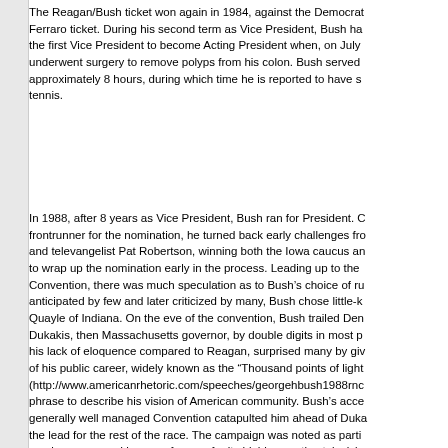The Reagan/Bush ticket won again in 1984, against the Democrat Ferraro ticket. During his second term as Vice President, Bush ha the first Vice President to become Acting President when, on July underwent surgery to remove polyps from his colon. Bush served approximately 8 hours, during which time he is reported to have s tennis.
In 1988, after 8 years as Vice President, Bush ran for President. frontrunner for the nomination, he turned back early challenges fr and televangelist Pat Robertson, winning both the Iowa caucus ar to wrap up the nomination early in the process. Leading up to the Convention, there was much speculation as to Bush's choice of ru anticipated by few and later criticized by many, Bush chose little-k Quayle of Indiana. On the eve of the convention, Bush trailed Den Dukakis, then Massachusetts governor, by double digits in most p his lack of eloquence compared to Reagan, surprised many by giv of his public career, widely known as the "Thousand points of ligh (http://www.americanrhetoric.com/speeches/georgehbush1988rn phrase to describe his vision of American community. Bush's acce generally well managed Convention catapulted him ahead of Duk the lead for the rest of the race. The campaign was noted as parti previous ones and became famous for its highly negative televisio advertisement run by the Bush campaign showed Dukakis awkwa riding in a U.S. Army tank. Another, produced and placed by an in Bush, referred to Massachusetts murderer and rapist Willie Horto assault while on a furlough program administered by a Republican have been administered by Dukakis (1990 CQ Almanac 487). The unconditional opposition to the reinstatement of capital punishm